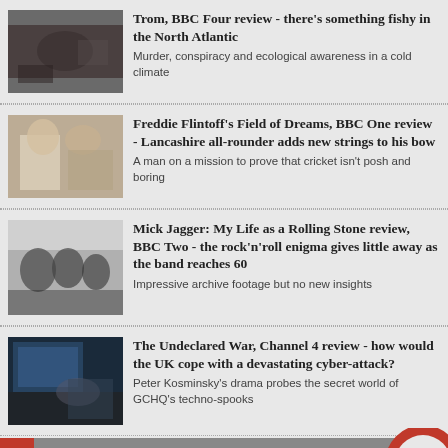Trom, BBC Four review - there's something fishy in the North Atlantic
Murder, conspiracy and ecological awareness in a cold climate
Freddie Flintoff's Field of Dreams, BBC One review - Lancashire all-rounder adds new strings to his bow
A man on a mission to prove that cricket isn't posh and boring
Mick Jagger: My Life as a Rolling Stone review, BBC Two - the rock'n'roll enigma gives little away as the band reaches 60
Impressive archive footage but no new insights
The Undeclared War, Channel 4 review - how would the UK cope with a devastating cyber-attack?
Peter Kosminsky's drama probes the secret world of GCHQ's techno-spooks
newsletter
Get a weekly digest of our critical highlights in your inbox each